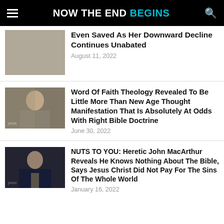NOW THE END BEGINS
Even Saved As Her Downward Decline Continues Unabated
August 11, 2022
[Figure (photo): Man in grey shirt speaking, TV studio background]
Word Of Faith Theology Revealed To Be Little More Than New Age Thought Manifestation That Is Absolutely At Odds With Right Bible Doctrine
June 30, 2022
[Figure (photo): Older man in dark suit and tie speaking]
NUTS TO YOU: Heretic John MacArthur Reveals He Knows Nothing About The Bible, Says Jesus Christ Did Not Pay For The Sins Of The Whole World
January 16, 2022